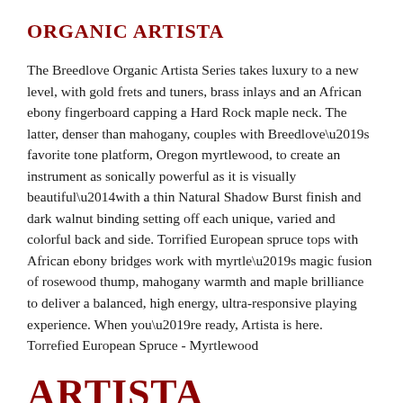ORGANIC ARTISTA
The Breedlove Organic Artista Series takes luxury to a new level, with gold frets and tuners, brass inlays and an African ebony fingerboard capping a Hard Rock maple neck. The latter, denser than mahogany, couples with Breedlove’s favorite tone platform, Oregon myrtlewood, to create an instrument as sonically powerful as it is visually beautiful—with a thin Natural Shadow Burst finish and dark walnut binding setting off each unique, varied and colorful back and side. Torrified European spruce tops with African ebony bridges work with myrtle’s magic fusion of rosewood thump, mahogany warmth and maple brilliance to deliver a balanced, high energy, ultra-responsive playing experience. When you’re ready, Artista is here. Torrefied European Spruce - Myrtlewood
ARTISTA CONCERT NATURAL SHADOW CE